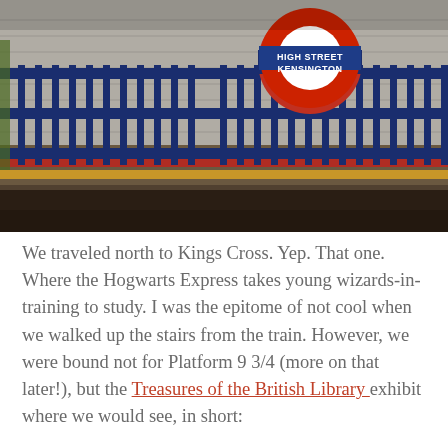[Figure (photo): Photo of High Street Kensington London Underground station platform, showing the iconic red, white and blue roundel sign with 'HIGH STREET KENSINGTON' text, blue metal railings/fence, platform tracks, brick wall background.]
We traveled north to Kings Cross. Yep. That one. Where the Hogwarts Express takes young wizards-in-training to study. I was the epitome of not cool when we walked up the stairs from the train. However, we were bound not for Platform 9 3/4 (more on that later!), but the Treasures of the British Library exhibit where we would see, in short: